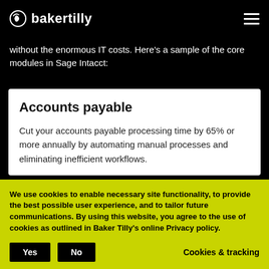bakertilly
without the enormous IT costs. Here's a sample of the core modules in Sage Intacct:
Accounts payable
Cut your accounts payable processing time by 65% or more annually by automating manual processes and eliminating inefficient workflows.
We use cookies to enable necessary site functionality, to provide the best possible user experience, and to tailor future communications. By using this website, you agree to the use of cookies as outlined in Baker Tilly's online Privacy policy.
Accounts receivable